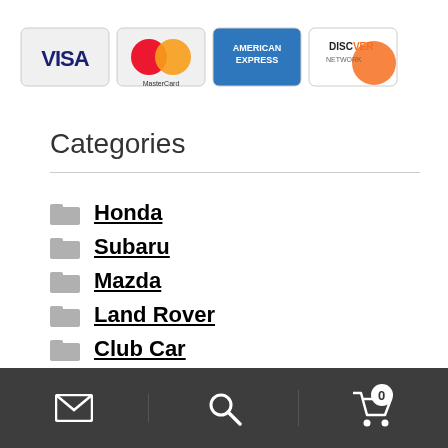[Figure (illustration): Payment method logos: VISA, MasterCard, American Express, Discover Network credit card icons]
Categories
Honda
Subaru
Mazda
Land Rover
Club Car
Infiniti
[Figure (screenshot): Bottom navigation bar with envelope/mail icon, search icon, and shopping cart icon with badge showing 0]